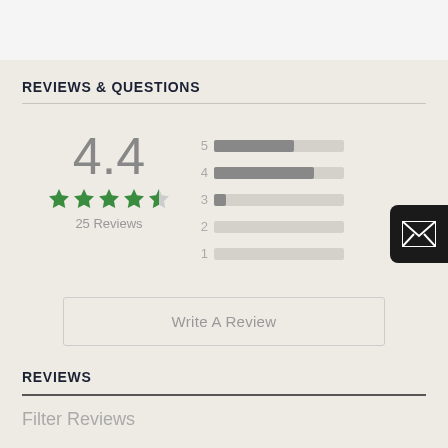REVIEWS & QUESTIONS
[Figure (bar-chart): Rating distribution]
4.4
25 Reviews
Write A Review
REVIEWS
Filter Reviews